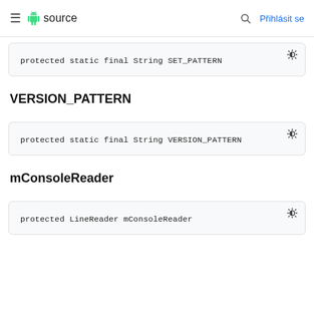≡ source  🔍 Přihlásit se
protected static final String SET_PATTERN
VERSION_PATTERN
protected static final String VERSION_PATTERN
mConsoleReader
protected LineReader mConsoleReader